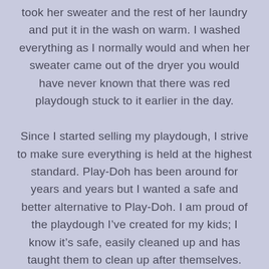took her sweater and the rest of her laundry and put it in the wash on warm. I washed everything as I normally would and when her sweater came out of the dryer you would have never known that there was red playdough stuck to it earlier in the day.

Since I started selling my playdough, I strive to make sure everything is held at the highest standard. Play-Doh has been around for years and years but I wanted a safe and better alternative to Play-Doh. I am proud of the playdough I’ve created for my kids; I know it’s safe, easily cleaned up and has taught them to clean up after themselves. With my playdough parents don’t have to worry if their kid eats it or if their pet eats it